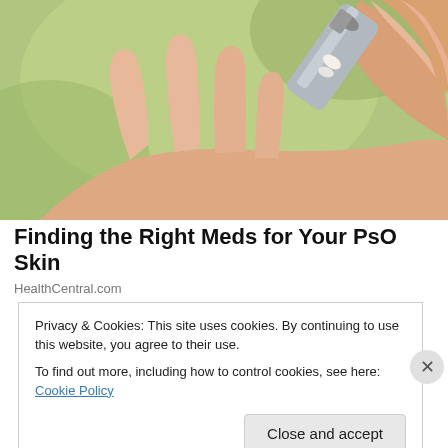[Figure (photo): Close-up photo of a hand with an open palm, and another hand squeezing cream from a tube onto it, against a green blurred background.]
Finding the Right Meds for Your PsO Skin
HealthCentral.com
Privacy & Cookies: This site uses cookies. By continuing to use this website, you agree to their use.
To find out more, including how to control cookies, see here: Cookie Policy
Close and accept